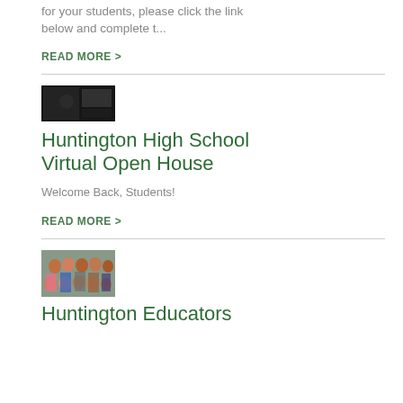for your students, please click the link below and complete t...
READ MORE >
[Figure (photo): Person sitting at a desk, dark background, screenshot from a virtual meeting]
Huntington High School Virtual Open House
Welcome Back, Students!
READ MORE >
[Figure (photo): Group photo of educators, diverse group of people posing together]
Huntington Educators